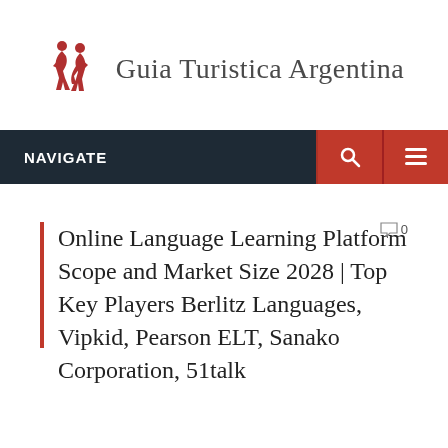[Figure (logo): Guia Turistica Argentina logo with tango dancer icon in red and site name in gray serif text]
NAVIGATE
Online Language Learning Platform Scope and Market Size 2028 | Top Key Players Berlitz Languages, Vipkid, Pearson ELT, Sanako Corporation, 51talk